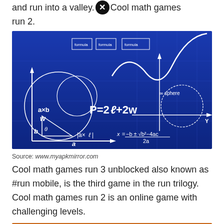and run into a valley. Cool math games run 2.
[Figure (illustration): Blue background math chalkboard illustration showing various mathematical formulas and diagrams including P=2l+2w, quadratic formula x=(-b±√(b²-4ac))/2a, geometric shapes, graphs, and coordinate systems drawn in white on blue.]
Source: www.myapkmirror.com
Cool math games run 3 unblocked also known as #run mobile, is the third game in the run trilogy. Cool math games run 2 is an online game with challenging levels.
[Figure (screenshot): Screenshot of a platformer game with orange background showing a cartoon character in red suit jumping over gray brick platforms, with a close/X button overlay.]